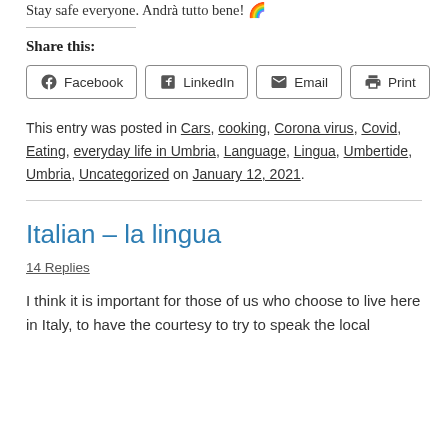Stay safe everyone. Andrà tutto bene! 🌈
Share this:
Facebook  LinkedIn  Email  Print
This entry was posted in Cars, cooking, Corona virus, Covid, Eating, everyday life in Umbria, Language, Lingua, Umbertide, Umbria, Uncategorized on January 12, 2021.
Italian – la lingua
14 Replies
I think it is important for those of us who choose to live here in Italy, to have the courtesy to try to speak the local